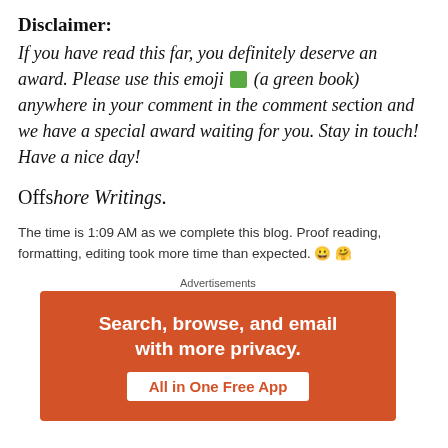Disclaimer:
If you have read this far, you definitely deserve an award. Please use this emoji 📗 (a green book) anywhere in your comment in the comment section and we have a special award waiting for you. Stay in touch! Have a nice day!
Offshore Writings.
The time is 1:09 AM as we complete this blog. Proof reading, formatting, editing took more time than expected. 😀 🤯
Advertisements
[Figure (infographic): Advertisement banner with orange-red background reading 'Search, browse, and email with more privacy.' and a button 'All in One Free App']